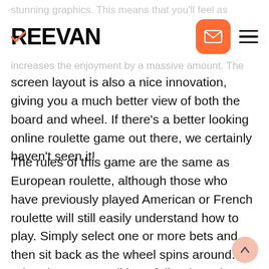stunning graphics. This means that you'll feel as though increases the enjoyment by a massive amount. The
[Figure (logo): REEVAN logo in bold black with orange checkmark overlay on the R letter, followed by an orange rounded square mail icon and a hamburger menu icon]
screen layout is also a nice innovation, giving you a much better view of both the board and wheel. If there's a better looking online roulette game out there, we certainly haven't seen it!
The rules of this game are the same as European roulette, although those who have previously played American or French roulette will still easily understand how to play. Simply select one or more bets and then sit back as the wheel spins around. When it stops, you'll hopefully win a nice real cash prize! Everything about this online gambling game is authentic, even down to the chatter of other casino customers in the background, and the tinkling of piano music as you